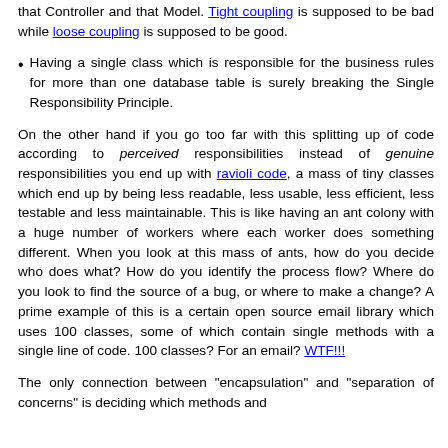that Controller and that Model. Tight coupling is supposed to be bad while loose coupling is supposed to be good.
Having a single class which is responsible for the business rules for more than one database table is surely breaking the Single Responsibility Principle.
On the other hand if you go too far with this splitting up of code according to perceived responsibilities instead of genuine responsibilities you end up with ravioli code, a mass of tiny classes which end up by being less readable, less usable, less efficient, less testable and less maintainable. This is like having an ant colony with a huge number of workers where each worker does something different. When you look at this mass of ants, how do you decide who does what? How do you identify the process flow? Where do you look to find the source of a bug, or where to make a change? A prime example of this is a certain open source email library which uses 100 classes, some of which contain single methods with a single line of code. 100 classes? For an email? WTF!!!
The only connection between "encapsulation" and "separation of concerns" is deciding which methods and